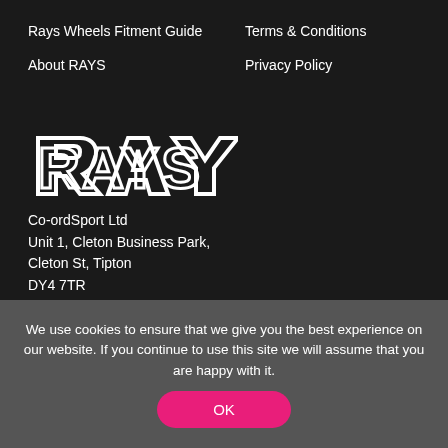Rays Wheels Fitment Guide
About RAYS
Terms & Conditions
Privacy Policy
[Figure (logo): RAYS brand logo in white on dark background]
Co-ordSport Ltd
Unit 1, Cleton Business Park,
Cleton St, Tipton
DY4 7TR
We use cookies to ensure that we give you the best experience on our website. If you continue to use this site we will assume that you are happy with it.